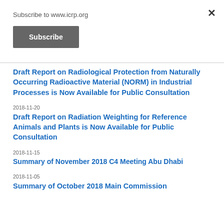Subscribe to www.icrp.org
Subscribe
Draft Report on Radiological Protection from Naturally Occurring Radioactive Material (NORM) in Industrial Processes is Now Available for Public Consultation
2018-11-20
Draft Report on Radiation Weighting for Reference Animals and Plants is Now Available for Public Consultation
2018-11-15
Summary of November 2018 C4 Meeting Abu Dhabi
2018-11-05
Summary of October 2018 Main Commission